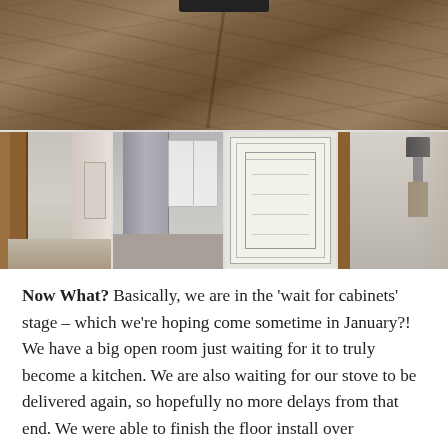[Figure (photo): Collage of home renovation photos: top image shows newly installed dark wood flooring in a hallway/room; bottom row shows four images: kitchen view through doorway with wood trim, kitchen with refrigerator and french doors, a hand-drawn floor plan/blueprint sketch, and a room with a lamp on a side table and hallway.]
Now What? Basically, we are in the 'wait for cabinets' stage – which we're hoping come sometime in January?! We have a big open room just waiting for it to truly become a kitchen. We are also waiting for our stove to be delivered again, so hopefully no more delays from that end. We were able to finish the floor install over Thanksgiving with a huge help to my parents – and again, thank goodness, because the attention to detail my dad